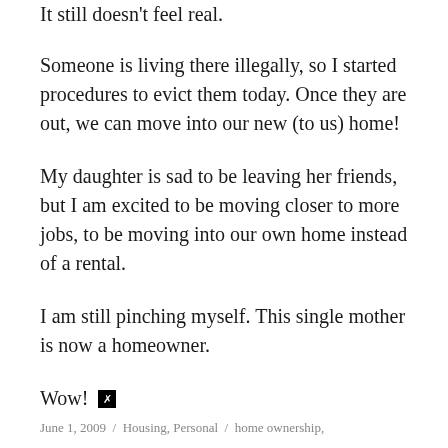It still doesn't feel real.
Someone is living there illegally, so I started procedures to evict them today. Once they are out, we can move into our new (to us) home!
My daughter is sad to be leaving her friends, but I am excited to be moving closer to more jobs, to be moving into our own home instead of a rental.
I am still pinching myself. This single mother is now a homeowner.
Wow! 🗵
June 1, 2009 / Housing, Personal / home ownership,